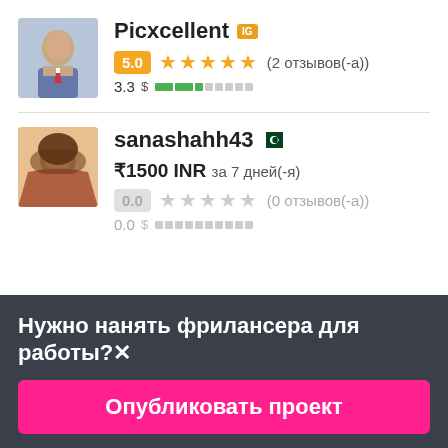[Figure (photo): Profile photo of Picxcellent - man in blue shirt and tie]
Picxcellent 🇮🇬 5.0 ★★★★★ (2 отзывов(-а)) 3.3 $ ███░░░░░░░
[Figure (photo): Profile photo of sanashahh43 - woman with hijab]
sanashahh43 🇵🇰 ₹1500 INR за 7 дней(-я) 0.0 ★★★★★ (0 отзывов(-а)) 0.0 $ ░░░░░░░░░░░
Нужно нанять фрилансера для работы?✕
Опубликовать проект